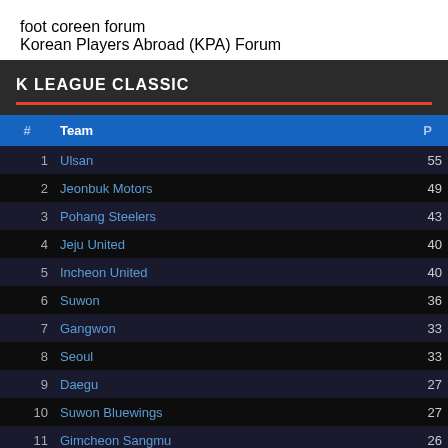foot coreen forum
Korean Players Abroad (KPA) Forum
K LEAGUE CLASSIC
| # | Team | P |
| --- | --- | --- |
| 1 | Ulsan | 55 |
| 2 | Jeonbuk Motors | 49 |
| 3 | Pohang Steelers | 43 |
| 4 | Jeju United | 40 |
| 5 | Incheon United | 40 |
| 6 | Suwon | 36 |
| 7 | Gangwon | 33 |
| 8 | Seoul | 33 |
| 9 | Daegu | 27 |
| 10 | Suwon Bluewings | 27 |
| 11 | Gimcheon Sangmu | 26 |